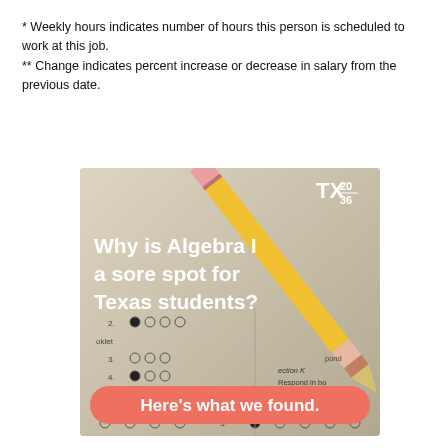* Weekly hours indicates number of hours this person is scheduled to work at this job.
** Change indicates percent increase or decrease in salary from the previous date.
[Figure (photo): Photo of a multiple-choice bubble sheet with a pencil resting on it. Overlaid text reads: 'Why is Algebra I a sore spot for Texas students?' with a TX 20/36 logo in the top right and a salmon-colored button at the bottom reading 'Here's what we found.']